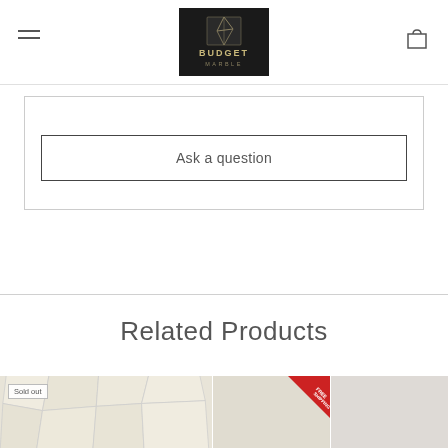Budget Marble
Customer Reviews
Ask a question
Related Products
[Figure (photo): Sold out marble mosaic tile product thumbnail with 'Sold out' badge]
[Figure (photo): Marble tile product thumbnail with 'Free Shipping' banner badge]
[Figure (photo): Light grey marble tile product thumbnail]